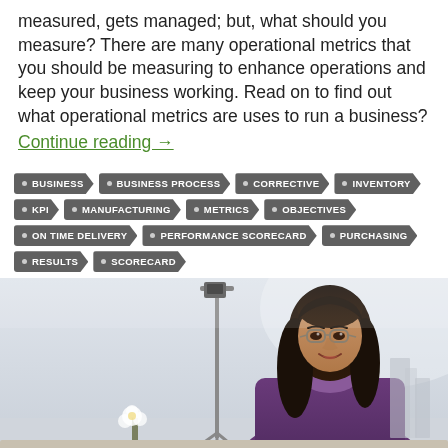measured, gets managed; but, what should you measure? There are many operational metrics that you should be measuring to enhance operations and keep your business working. Read on to find out what operational metrics are uses to run a business?
Continue reading →
BUSINESS
BUSINESS PROCESS
CORRECTIVE
INVENTORY
KPI
MANUFACTURING
METRICS
OBJECTIVES
ON TIME DELIVERY
PERFORMANCE SCORECARD
PURCHASING
RESULTS
SCORECARD
[Figure (photo): Photo of a smiling Asian woman with glasses and long dark hair, wearing a purple blazer, seated at a desk in a bright office setting. A camera tripod/stand is visible in the background left.]